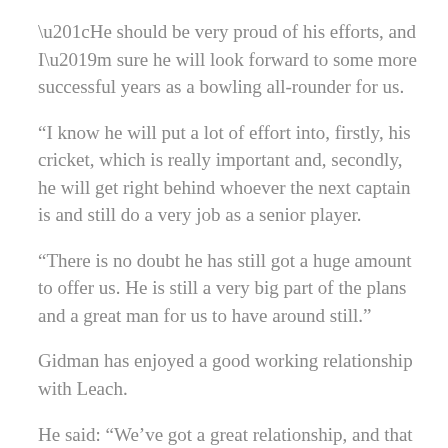“He should be very proud of his efforts, and I’m sure he will look forward to some more successful years as a bowling all-rounder for us.
“I know he will put a lot of effort into, firstly, his cricket, which is really important and, secondly, he will get right behind whoever the next captain is and still do a very job as a senior player.
“There is no doubt he has still got a huge amount to offer us. He is still a very big part of the plans and a great man for us to have around still.”
Gidman has enjoyed a good working relationship with Leach.
He said: “We’ve got a great relationship, and that will continue. We’ve had our differences of